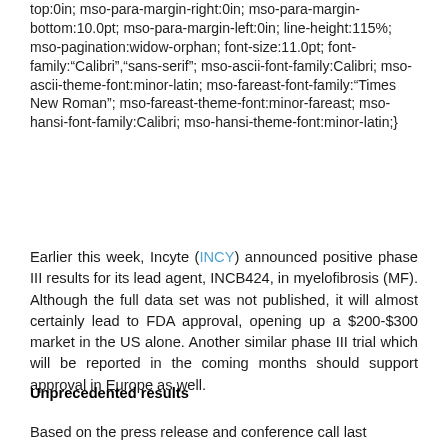top:0in; mso-para-margin-right:0in; mso-para-margin-bottom:10.0pt; mso-para-margin-left:0in; line-height:115%; mso-pagination:widow-orphan; font-size:11.0pt; font-family:“Calibri”,“sans-serif”; mso-ascii-font-family:Calibri; mso-ascii-theme-font:minor-latin; mso-fareast-font-family:“Times New Roman”; mso-fareast-theme-font:minor-fareast; mso-hansi-font-family:Calibri; mso-hansi-theme-font:minor-latin;}
Earlier this week, Incyte (INCY) announced positive phase III results for its lead agent, INCB424, in myelofibrosis (MF). Although the full data set was not published, it will almost certainly lead to FDA approval, opening up a $200-$300 market in the US alone. Another similar phase III trial which will be reported in the coming months should support approval in Europe as well.
Unprecedented results
Based on the press release and conference call last